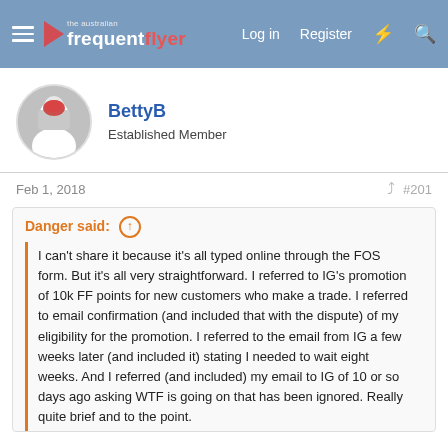The Australian Frequent Flyer — Log in  Register
BettyB
Established Member
Feb 1, 2018  #201
Danger said: ↑
I can't share it because it's all typed online through the FOS form. But it's all very straightforward. I referred to IG's promotion of 10k FF points for new customers who make a trade. I referred to email confirmation (and included that with the dispute) of my eligibility for the promotion. I referred to the email from IG a few weeks later (and included it) stating I needed to wait eight weeks. And I referred (and included) my email to IG of 10 or so days ago asking WTF is going on that has been ignored. Really quite brief and to the point.
What was the web address for this?